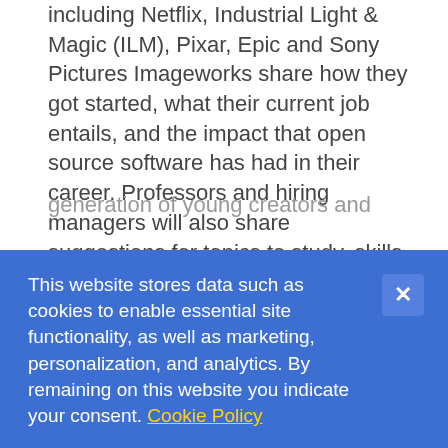including Netflix, Industrial Light & Magic (ILM), Pixar, Epic and Sony Pictures Imageworks share how they got started, what their current job entails, and the impact that open source software has had in their career. Professors and hiring managers will also share suggestions for topics to study, skills to develop, and resources that can help you along the way.
This Academy Software Foundation series is specifically tailored for the next generation of young creators and
This website stores data such as cookies to enable essential site functionality, as well as marketing, personalization, and analytics. By remaining on this website you indicate your consent. Cookie Policy